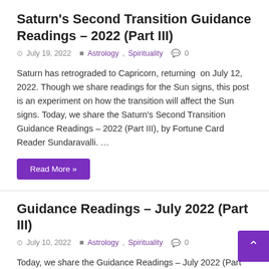Saturn's Second Transition Guidance Readings – 2022 (Part III)
July 19, 2022   Astrology, Spirituality   0
Saturn has retrograded to Capricorn, returning  on July 12, 2022. Though we share readings for the Sun signs, this post is an experiment on how the transition will affect the Sun signs. Today, we share the Saturn's Second Transition Guidance Readings – 2022 (Part III), by Fortune Card Reader Sundaravalli. …
Read More »
Guidance Readings – July 2022 (Part III)
July 10, 2022   Astrology, Spirituality   0
Today, we share the Guidance Readings – July 2022 (Part III), by our resident Fortune Card Reader Sundaravalli. This is the third part of the post. Guidance Readings – July 2022 (Part III) Libra If you make efforts and are grateful for what you have, you will receive support and …